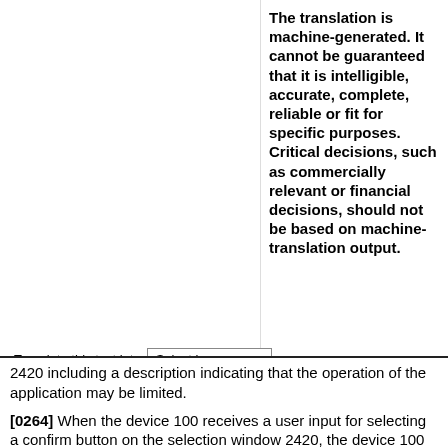The translation is machine-generated. It cannot be guaranteed that it is intelligible, accurate, complete, reliable or fit for specific purposes. Critical decisions, such as commercially relevant or financial decisions, should not be based on machine-translation output.
Translate this text into
[Figure (screenshot): Patent Translate logo with red background showing arrows icon and 'patenttranslate' text, powered by EPO and Google]
2420 including a description indicating that the operation of the application may be limited.
[0264] When the device 100 receives a user input for selecting a confirm button on the selection window 2420, the device 100 may stop the operation of the application based